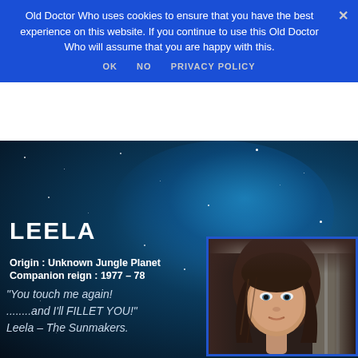Old Doctor Who uses cookies to ensure that you have the best experience on this website. If you continue to use this Old Doctor Who will assume that you are happy with this.
OK   NO   PRIVACY POLICY
[Figure (photo): Space nebula background with stars — dark blue starfield with teal/blue nebula cloud in upper right area]
LEELA
Origin : Unknown Jungle Planet
Companion reign : 1977 – 78
"You touch me again! ........and I'll FILLET YOU!" Leela – The Sunmakers.
[Figure (photo): Portrait photo of actress playing Leela — young woman with long brown hair and blue eyes, looking at camera, with mechanical/industrial background]